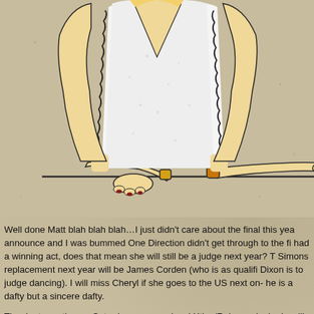[Figure (illustration): Cartoon illustration of a person from the torso up, wearing a white fluffy/furry vest over bare arms, with blonde hair partially visible. Arms are resting on a horizontal surface/table. One wrist has a gold/orange cuff or bracelet. Red fingernails visible on hands.]
Well done Matt blah blah blah…I just didn't care about the final this yea announce and I was bummed One Direction didn't get through to the fi had a winning act, does that mean she will still be a judge next year? T Simons replacement next year will be James Corden (who is as qualifi Dixon is to judge dancing). I will miss Cheryl if she goes to the US next on- he is a dafty but a sincere dafty.
The duets section on Saturday was so cringy! Xtina/Rebecca looked ve like he needed a cold water hose-down within 20 seconds of Rhianna a did a good job with the boys, and it was nice to hear from Simon that h rehearsals to put the act at ease.
Sunday was boring, a series of tedious re-caps interspersed with an a